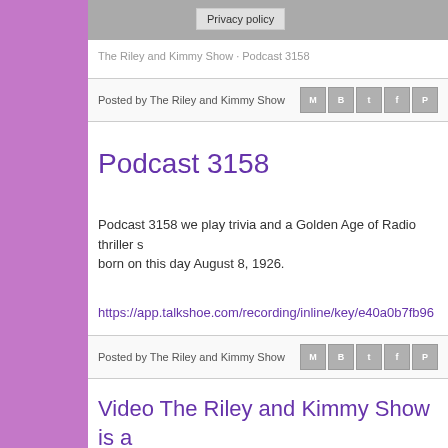Privacy policy
The Riley and Kimmy Show · Podcast 3158
Posted by The Riley and Kimmy Show
Podcast 3158
Podcast 3158 we play trivia and a Golden Age of Radio thriller s... born on this day August 8, 1926.
https://app.talkshoe.com/recording/inline/key/e40a0b7fb96...
Posted by The Riley and Kimmy Show
Video The Riley and Kimmy Show is a... Florida event